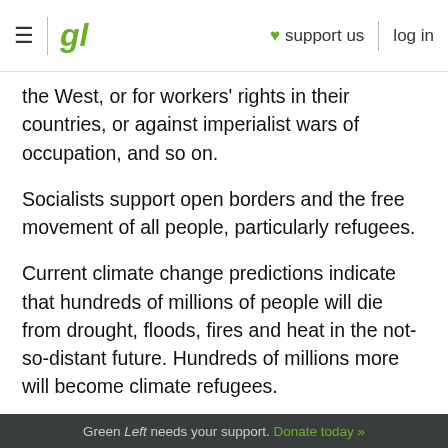≡ | gl ♥ support us | log in
the West, or for workers' rights in their countries, or against imperialist wars of occupation, and so on.
Socialists support open borders and the free movement of all people, particularly refugees.
Current climate change predictions indicate that hundreds of millions of people will die from drought, floods, fires and heat in the not-so-distant future. Hundreds of millions more will become climate refugees.
In fact, the Intergovernmental Panel on Climate Change's fourth assessment predicted there would
Green Left needs your support. Donate today »